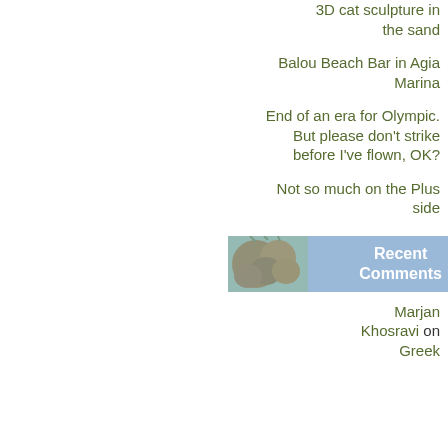3D cat sculpture in the sand
Balou Beach Bar in Agia Marina
End of an era for Olympic. But please don't strike before I've flown, OK?
Not so much on the Plus side
Recent Comments
Marjan Khosravi on Greek